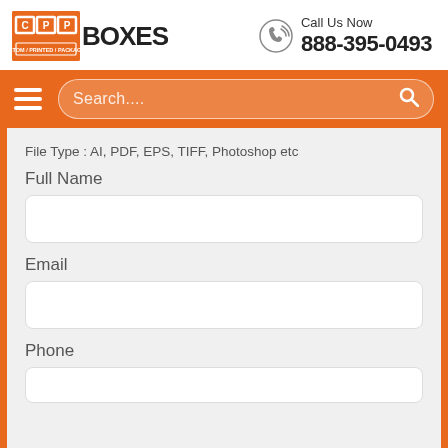[Figure (logo): CPP Boxes logo with orange background and BOXES text, plus phone number 888-395-0493]
Call Us Now
888-395-0493
Search....
File Type : AI, PDF, EPS, TIFF, Photoshop etc
Full Name
Email
Phone